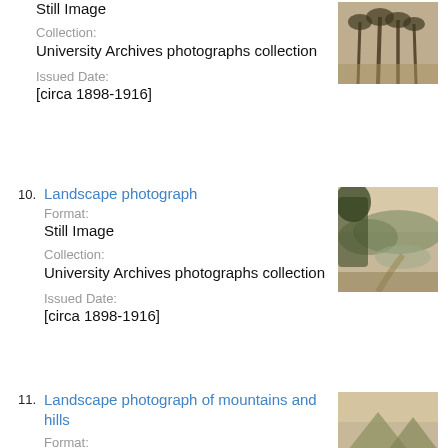Still Image
Collection:
University Archives photographs collection
Issued Date:
[circa 1898-1916]
[Figure (photo): Sepia-toned photograph of palm trees]
10. Landscape photograph
Format:
Still Image
Collection:
University Archives photographs collection
Issued Date:
[circa 1898-1916]
[Figure (photo): Sepia-toned landscape photograph with hills and a path]
11. Landscape photograph of mountains and hills
Format: